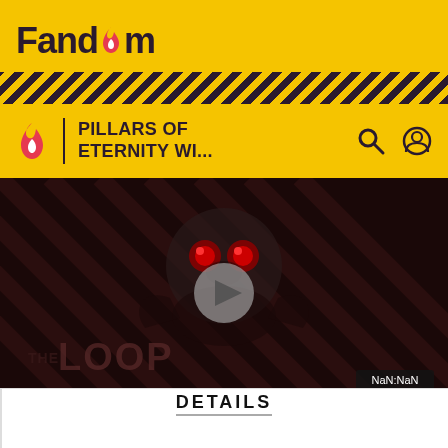Fandom
PILLARS OF ETERNITY WI...
[Figure (screenshot): Video player showing 'THE LOOP' Fandom video with a cartoon creature with red eyes, play button overlay, dark striped background, and NaN:NaN timestamp]
DETAILS
TYPE	Main quest
LOCATION(S)
The Abbey of the Fallen Moon
The Halls of Presence